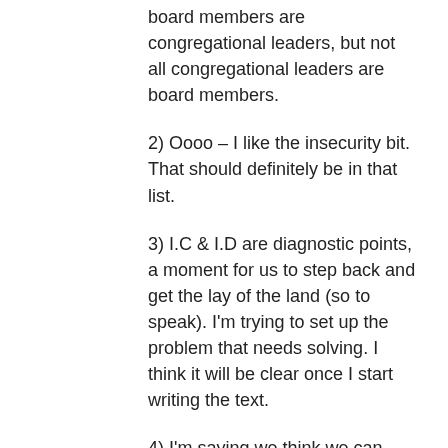board members are congregational leaders, but not all congregational leaders are board members.
2) Oooo – I like the insecurity bit. That should definitely be in that list.
3) I.C & I.D are diagnostic points, a moment for us to step back and get the lay of the land (so to speak). I'm trying to set up the problem that needs solving. I think it will be clear once I start writing the text.
4) I'm saying we think we can hire/elect experts who will give us the right/new/better content that will solve all of our problems. We expect this person to focus on “content.” Conversely, we should be hiring/electing folks who will understand that they are offering a service